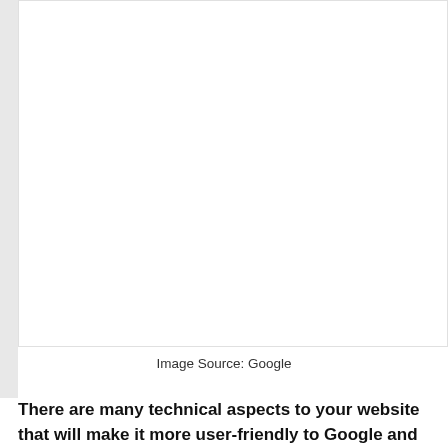[Figure (other): Large white blank image placeholder area with a light grey left strip/binding visible]
Image Source: Google
There are many technical aspects to your website that will make it more user-friendly to Google and easier to optimize